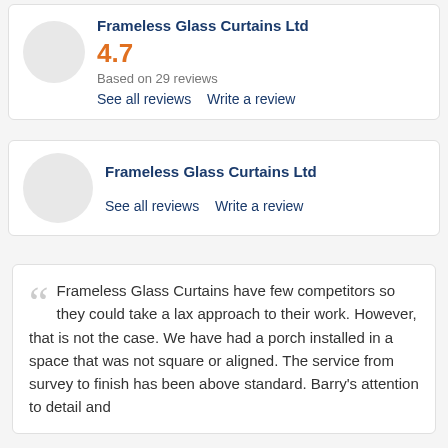Frameless Glass Curtains Ltd
4.7
Based on 29 reviews
See all reviews   Write a review
Frameless Glass Curtains Ltd
See all reviews   Write a review
Frameless Glass Curtains have few competitors so they could take a lax approach to their work. However, that is not the case. We have had a porch installed in a space that was not square or aligned. The service from survey to finish has been above standard. Barry's attention to detail and